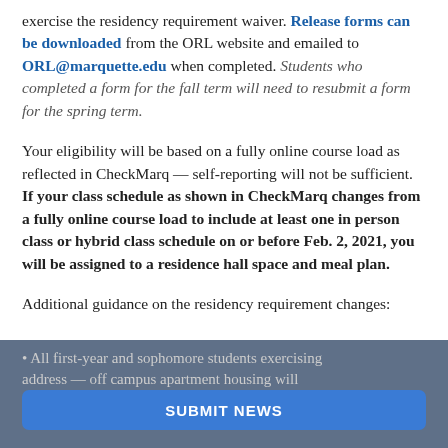exercise the residency requirement waiver. Release forms can be downloaded from the ORL website and emailed to ORL@marquette.edu when completed. Students who completed a form for the fall term will need to resubmit a form for the spring term.
Your eligibility will be based on a fully online course load as reflected in CheckMarq — self-reporting will not be sufficient. If your class schedule as shown in CheckMarq changes from a fully online course load to include at least one in person class or hybrid class schedule on or before Feb. 2, 2021, you will be assigned to a residence hall space and meal plan.
Additional guidance on the residency requirement changes:
All first-year and sophomore students exercising … address — off campus apartment housing will